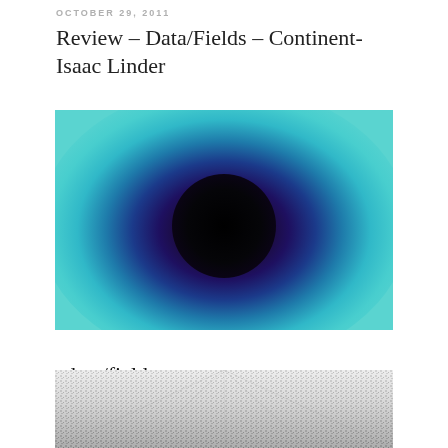OCTOBER 29, 2011
Review – Data/Fields – Continent- Isaac Linder
[Figure (photo): Digital art image: black circular void with blue-purple radial gradient glow on teal/cyan background]
[Figure (photo): Data/fields exhibition poster showing title 'data/fields', artists names (Caleb Coppock, Mark Fell, Andy Graydon, Ryoji Ikeda, France Jobin), 5 new media installation works, dates Thursday September 22 - Sunday November 27 2011, opening reception Friday September 23 7-9pm, Hemisphere logo and funders]
[Figure (photo): Black and white textured image showing dense pattern resembling data visualization or woven grid texture, photographed in perspective]